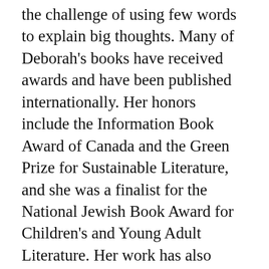the challenge of using few words to explain big thoughts. Many of Deborah’s books have received awards and have been published internationally. Her honors include the Information Book Award of Canada and the Green Prize for Sustainable Literature, and she was a finalist for the National Jewish Book Award for Children’s and Young Adult Literature. Her work has also appeared on ALA’s Top Ten Best Environmental Books for Youth. Deborah lives in Vancouver.
Deborah Hodge's profile page
Brian Harris is an award-winning photographer with many years of experience in photography and project management for not-for-profit organizations such as FarmFolk/CityFolk. His photographs appear in Up We Grow! He is a proponent of sustainable living and makes his home...